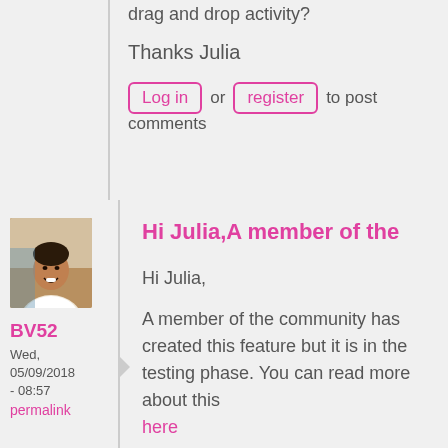drag and drop activity?
Thanks Julia
Log in or register to post comments
[Figure (photo): Profile photo of user BV52 - man in white shirt smiling]
BV52
Wed, 05/09/2018 - 08:57
permalink
Hi Julia,A member of the
Hi Julia,
A member of the community has created this feature but it is in the testing phase. You can read more about this here